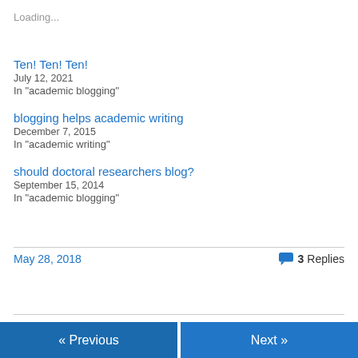Loading...
Ten! Ten! Ten!
July 12, 2021
In "academic blogging"
blogging helps academic writing
December 7, 2015
In "academic writing"
should doctoral researchers blog?
September 15, 2014
In "academic blogging"
May 28, 2018
3 Replies
« Previous
Next »